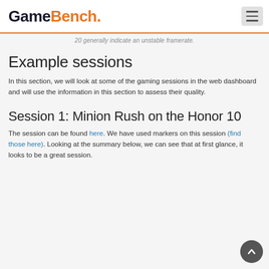GameBench.
20 generally indicate an unstable framerate.
Example sessions
In this section, we will look at some of the gaming sessions in the web dashboard and will use the information in this section to assess their quality.
Session 1: Minion Rush on the Honor 10
The session can be found here. We have used markers on this session (find those here). Looking at the summary below, we can see that at first glance, it looks to be a great session.